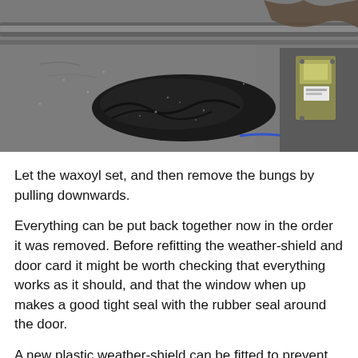[Figure (photo): Close-up photograph of the underside of a car door showing a black rubber/plastic weather-shield or bung, gray metal door frame with grime, and a door latch mechanism visible on the right.]
Let the waxoyl set, and then remove the bungs by pulling downwards.
Everything can be put back together now in the order it was removed. Before refitting the weather-shield and door card it might be worth checking that everything works as it should, and that the window when up makes a good tight seal with the rubber seal around the door.
A new plastic weather-shield can be fitted to prevent water entering the car and or soaking into the door card. I bought some plastic damp-proofing for use under lino from